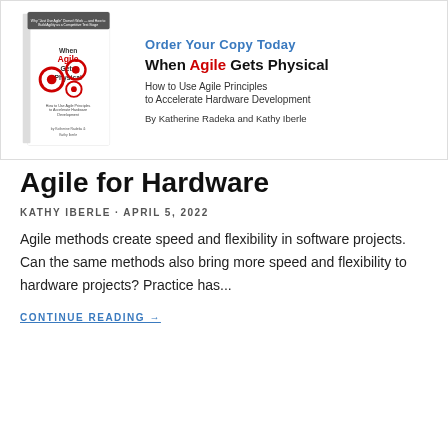[Figure (illustration): Book promotion banner showing the cover of 'When Agile Gets Physical' with red gear icons, alongside text 'Order Your Copy Today', book title, subtitle 'How to Use Agile Principles to Accelerate Hardware Development', and authors 'By Katherine Radeka and Kathy Iberle'.]
Agile for Hardware
KATHY IBERLE · APRIL 5, 2022
Agile methods create speed and flexibility in software projects.  Can the same methods also bring more speed and flexibility to hardware projects?   Practice has...
CONTINUE READING →